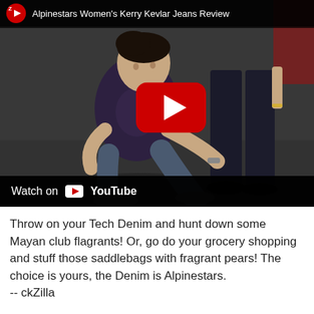[Figure (screenshot): YouTube video thumbnail showing a man crouching and examining jeans on a standing person, with a red YouTube play button overlay, top bar showing the video title 'Alpinestars Women's Kerry Kevlar Jeans Review' with a channel logo, and a 'Watch on YouTube' bar at the bottom.]
Throw on your Tech Denim and hunt down some Mayan club flagrants! Or, go do your grocery shopping and stuff those saddlebags with fragrant pears! The choice is yours, the Denim is Alpinestars.
-- ckZilla